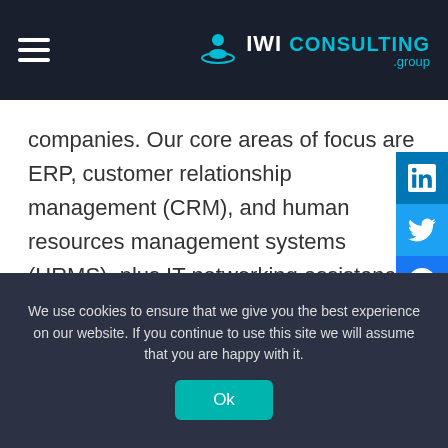IWI CONSULTING group
companies. Our core areas of focus are ERP, customer relationship management (CRM), and human resources management systems (HRMS), plus IT networking assistance.
We’re invested in the success of your non-profit and management strategies. The following three areas of focus will help you bolster your organizational cohesion, focus, managing capabilities, and more.
We use cookies to ensure that we give you the best experience on our website. If you continue to use this site we will assume that you are happy with it.